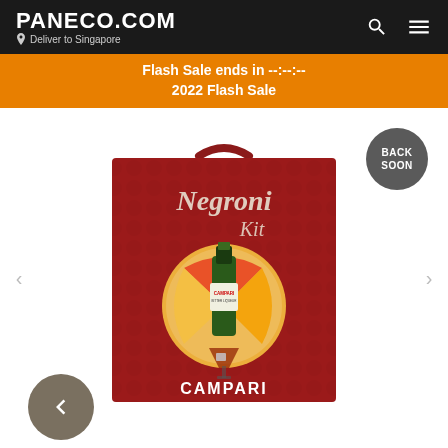PANECO.COM · Deliver to Singapore
Flash Sale ends in --:--:--
2022 Flash Sale
[Figure (photo): Campari Negroni kit red gift box with handle, featuring Campari bottle and cocktail glass imagery, with 'Negroni Kit' script text and 'CAMPARI' label at bottom. 'BACK SOON' badge in top right. Navigation arrows on left and right sides. Back navigation circle button on bottom left.]